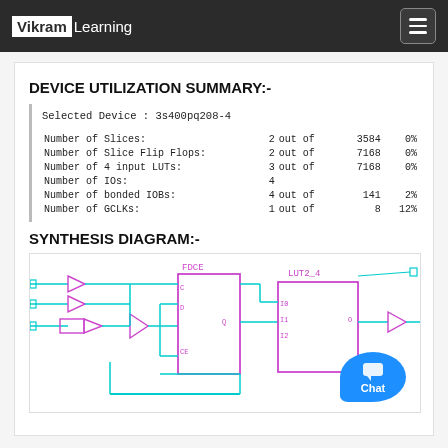VikramLearning
DEVICE UTILIZATION SUMMARY:-
| Resource | Used |  | Total | Utilization |
| --- | --- | --- | --- | --- |
| Selected Device : 3s400pq208-4 |  |  |  |  |
| Number of Slices: | 2 | out of | 3584 | 0% |
| Number of Slice Flip Flops: | 2 | out of | 7168 | 0% |
| Number of 4 input LUTs: | 3 | out of | 7168 | 0% |
| Number of IOs: | 4 |  |  |  |
| Number of bonded IOBs: | 4 | out of | 141 | 2% |
| Number of GCLKs: | 1 | out of | 8 | 12% |
SYNTHESIS DIAGRAM:-
[Figure (schematic): Synthesis diagram showing FDCE flip-flop, LUT2_4 lookup table, input buffers (triangular symbols), and interconnecting cyan/magenta wires on a white background.]